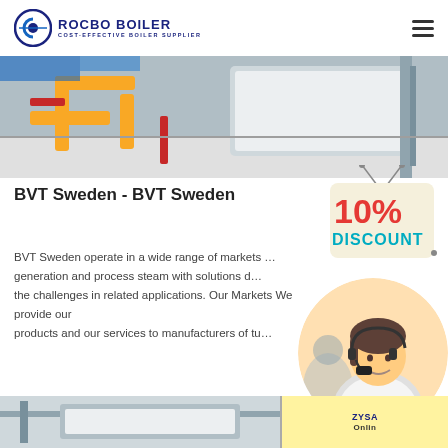[Figure (logo): Rocbo Boiler logo with circular icon and text 'ROCBO BOILER - COST-EFFECTIVE BOILER SUPPLIER' in dark blue]
[Figure (photo): Industrial boiler room with yellow pipes and stainless steel equipment]
BVT Sweden - BVT Sweden
[Figure (photo): 10% DISCOUNT promotional badge hanging sign]
BVT Sweden operate in a wide range of markets … generation and process steam with solutions d… the challenges in related applications. Our Markets We provide our products and our services to manufacturers of tu…
[Figure (photo): Customer service representative woman with headset smiling]
[Figure (other): Get Price green button]
[Figure (photo): Bottom strip showing industrial equipment and ZYSA Online badge]